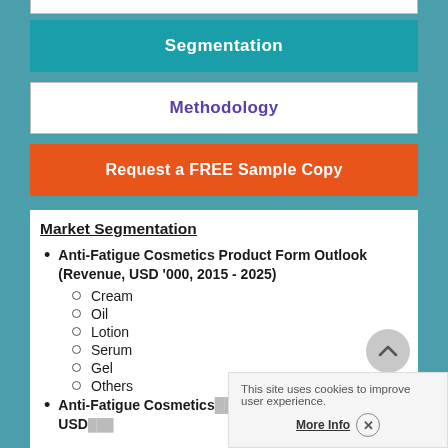Segmentation
Methodology
Request a FREE Sample Copy
Market Segmentation
Anti-Fatigue Cosmetics Product Form Outlook (Revenue, USD '000, 2015 - 2025)
Cream
Oil
Lotion
Serum
Gel
Others
Anti-Fatigue Cosmetics ... Outlook (Revenue, USD ...